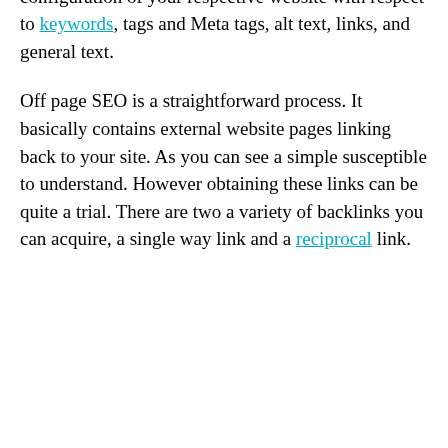at with the traits of the sites which might be ranked the greatest may enlighten you to definitely strategies and ideas that you may not have access to realized before. When you build websites, there are two things that have to be done. Focus on the On & Off page optimization. With on page optimization, it relates to customized for specific cultures and configuration of your respective website with respect to keywords, tags and Meta tags, alt text, links, and general text.
Off page SEO is a straightforward process. It basically contains external website pages linking back to your site. As you can see a simple susceptible to understand. However obtaining these links can be quite a trial. There are two a variety of backlinks you can acquire, a single way link and a reciprocal link.